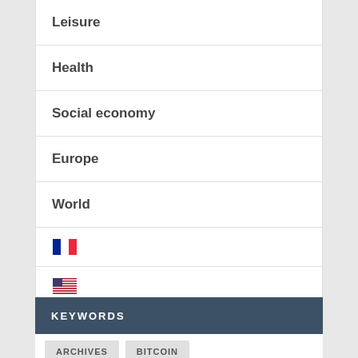Leisure
Health
Social economy
Europe
World
[French flag icon]
[US flag icon]
KEYWORDS
ARCHIVES
BITCOIN